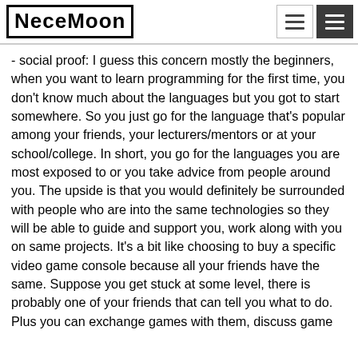NeceMoon
- social proof: I guess this concern mostly the beginners, when you want to learn programming for the first time, you don't know much about the languages but you got to start somewhere. So you just go for the language that's popular among your friends, your lecturers/mentors or at your school/college. In short, you go for the languages you are most exposed to or you take advice from people around you. The upside is that you would definitely be surrounded with people who are into the same technologies so they will be able to guide and support you, work along with you on same projects. It's a bit like choosing to buy a specific video game console because all your friends have the same. Suppose you get stuck at some level, there is probably one of your friends that can tell you what to do. Plus you can exchange games with them, discuss game